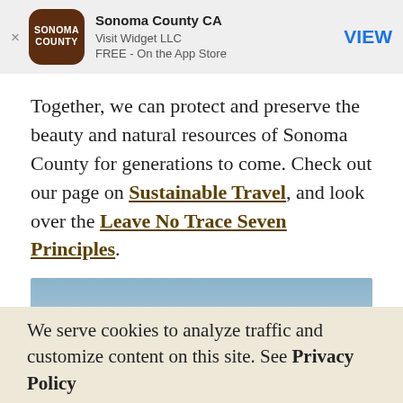[Figure (other): App store banner for Sonoma County CA app by Visit Widget LLC, free on the App Store, with a brown rounded-square icon showing SONOMA COUNTY text, a close button, and a VIEW button.]
Together, we can protect and preserve the beauty and natural resources of Sonoma County for generations to come. Check out our page on Sustainable Travel, and look over the Leave No Trace Seven Principles.
[Figure (photo): Landscape photo showing a large rocky outcropping / sea stack under a blue sky, likely on the Sonoma County coast.]
We serve cookies to analyze traffic and customize content on this site. See Privacy Policy